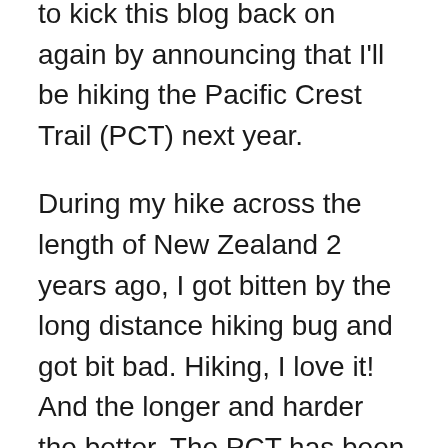to kick this blog back on again by announcing that I'll be hiking the Pacific Crest Trail (PCT) next year.
During my hike across the length of New Zealand 2 years ago, I got bitten by the long distance hiking bug and got bit bad. Hiking, I love it! And the longer and harder the better. The PCT has been on my bucket list for many years but without some long distance hiking experience under my belt I felt it to be out of reach. Now, having completed the Te Araroa trail in New Zealand on top of my extensive shorter hiking resume I am more than confident I have the necessary experience to take on the PCT.
For those unfamiliar with the PCT, it is a 2650 mile dedicated scenic trail in the United States, extending from the Mexican border near Campo, California, to the Canadian border in Washington. It covers diverse and challenging terrain, starting with 700 miles of desert...